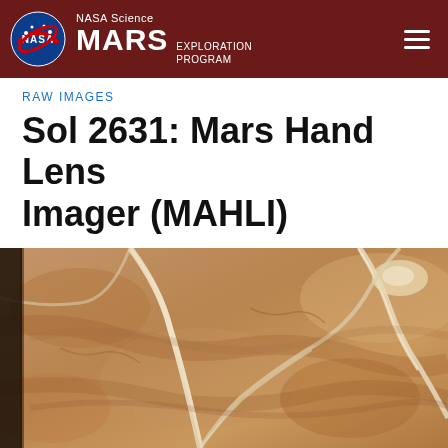NASA Science MARS EXPLORATION PROGRAM
RAW IMAGES
Sol 2631: Mars Hand Lens Imager (MAHLI)
[Figure (photo): Close-up MAHLI image of Martian rock surface showing tan/brown sedimentary rock with white veins and fractures running diagonally across the surface, taken on Sol 2631 by the Curiosity rover]